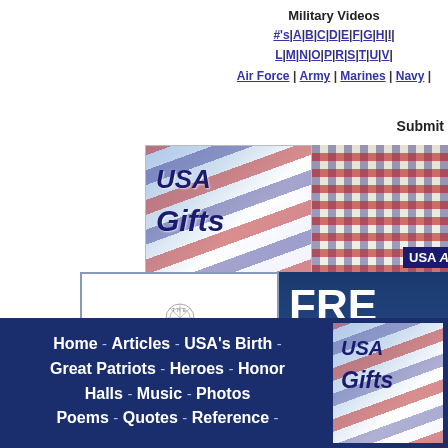Military Videos
#'s | A | B | C | D | E | F | G | H | I | L | M | N | O | P | R | S | T | U | V | ... Air Force | Army | Marines | Navy | ...
Submit
[Figure (illustration): USA Gifts banner with American flag]
[Figure (photo): Persons wearing American flag shirts]
[Figure (logo): The Bradford Exchange Online logo]
FREE GIFT
Home - Articles - USA's Birth - Great Patriots - Heroes - Honor Halls - Music - Photos - Poems - Quotes - Reference -
[Figure (illustration): USA Gifts small banner]